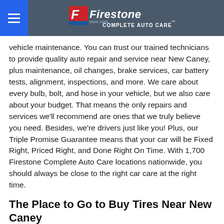Firestone Complete Auto Care
vehicle maintenance. You can trust our trained technicians to provide quality auto repair and service near New Caney, plus maintenance, oil changes, brake services, car battery tests, alignment, inspections, and more. We care about every bulb, bolt, and hose in your vehicle, but we also care about your budget. That means the only repairs and services we'll recommend are ones that we truly believe you need. Besides, we're drivers just like you! Plus, our Triple Promise Guarantee means that your car will be Fixed Right, Priced Right, and Done Right On Time. With 1,700 Firestone Complete Auto Care locations nationwide, you should always be close to the right car care at the right time.
The Place to Go to Buy Tires Near New Caney
We care about what's under the hood, but also what helps keep you safe on the road: your tires. Buying the right car or truck tires can be one of the easiest ways to help keep your vehicle on the road for the long haul. Whether you're shopping for rugged all-terrain tires or smooth touring tires, we have some of the best